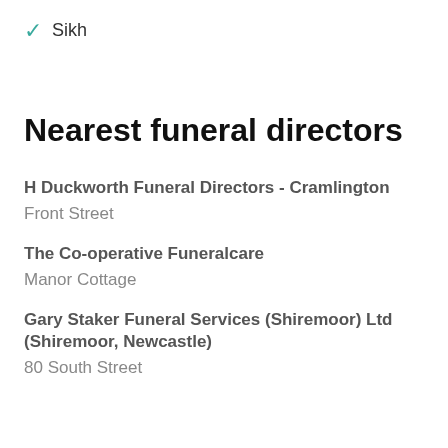✓ Sikh
Nearest funeral directors
H Duckworth Funeral Directors - Cramlington
Front Street
The Co-operative Funeralcare
Manor Cottage
Gary Staker Funeral Services (Shiremoor) Ltd (Shiremoor, Newcastle)
80 South Street